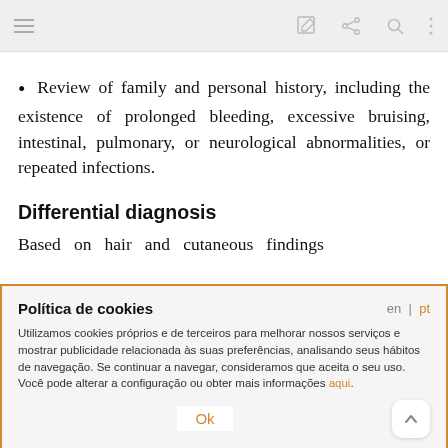toolbar with menu, edit, share, search, more icons
Review of family and personal history, including the existence of prolonged bleeding, excessive bruising, intestinal, pulmonary, or neurological abnormalities, or repeated infections.
Differential diagnosis
Based on hair and cutaneous findings
Política de cookies
en | pt
Utilizamos cookies próprios e de terceiros para melhorar nossos serviços e mostrar publicidade relacionada às suas preferências, analisando seus hábitos de navegação. Se continuar a navegar, consideramos que aceita o seu uso. Você pode alterar a configuração ou obter mais informações aqui.
Ok